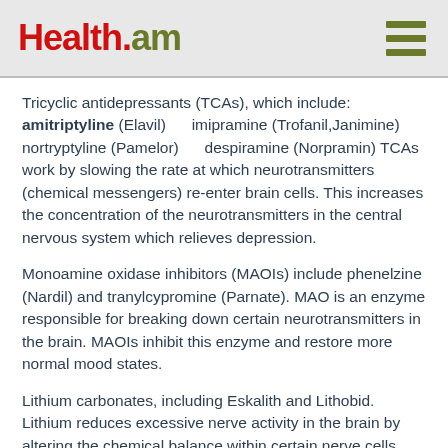Health.am
Tricyclic antidepressants (TCAs), which include: amitriptyline (Elavil)    imipramine (Trofanil,Janimine) nortryptyline (Pamelor)    despiramine (Norpramin) TCAs work by slowing the rate at which neurotransmitters (chemical messengers) re-enter brain cells. This increases the concentration of the neurotransmitters in the central nervous system which relieves depression.
Monoamine oxidase inhibitors (MAOIs) include phenelzine (Nardil) and tranylcypromine (Parnate). MAO is an enzyme responsible for breaking down certain neurotransmitters in the brain. MAOIs inhibit this enzyme and restore more normal mood states.
Lithium carbonates, including Eskalith and Lithobid. Lithium reduces excessive nerve activity in the brain by altering the chemical balance within certain nerve cells. This drug is effective is treating bipolar disorder.
Selective serotonin reuptake inhibitors (SSRIs) include: